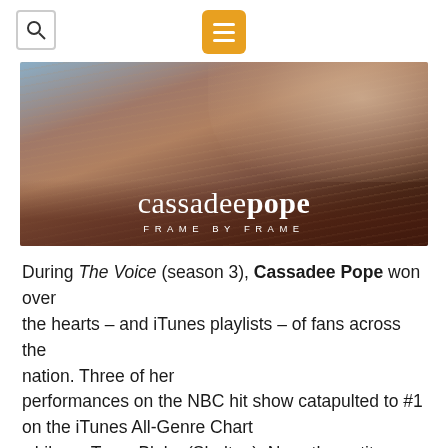Search icon | Menu icon
[Figure (photo): Album cover for Cassadee Pope 'Frame by Frame' — close-up photo of a young woman with long blonde hair, smiling, with the text 'cassadeepope' and 'FRAME BY FRAME' overlaid in white.]
During The Voice (season 3), Cassadee Pope won over the hearts – and iTunes playlists – of fans across the nation. Three of her performances on the NBC hit show catapulted to #1 on the iTunes All-Genre Chart while on Team Blake (Shelton). Now, the petite powerhouse is letting fans choose once again – her new album cover. The debut Country project FRAME...